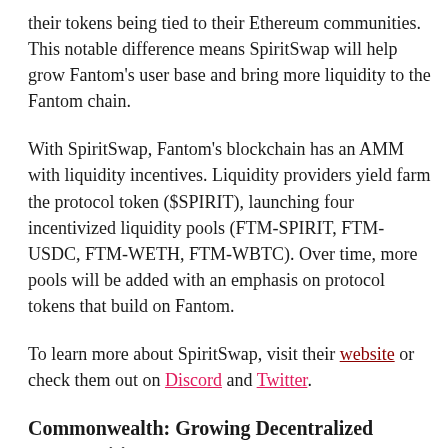their tokens being tied to their Ethereum communities. This notable difference means SpiritSwap will help grow Fantom's user base and bring more liquidity to the Fantom chain.
With SpiritSwap, Fantom's blockchain has an AMM with liquidity incentives. Liquidity providers yield farm the protocol token ($SPIRIT), launching four incentivized liquidity pools (FTM-SPIRIT, FTM-USDC, FTM-WETH, FTM-WBTC). Over time, more pools will be added with an emphasis on protocol tokens that build on Fantom.
To learn more about SpiritSwap, visit their website or check them out on Discord and Twitter.
Commonwealth: Growing Decentralized Communities